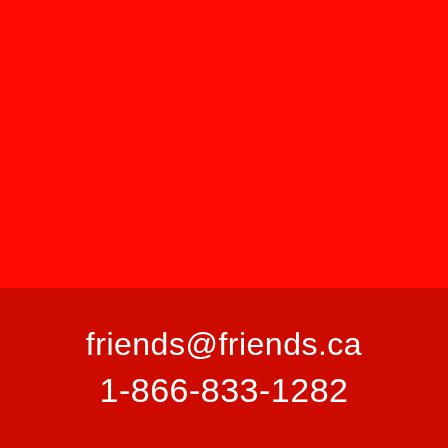[Figure (illustration): Solid bright red background filling the upper portion of the page]
friends@friends.ca
1-866-833-1282